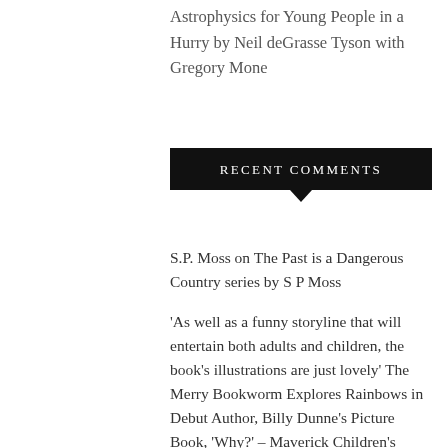Astrophysics for Young People in a Hurry by Neil deGrasse Tyson with Gregory Mone
RECENT COMMENTS
S.P. Moss on The Past is a Dangerous Country series by S P Moss
'As well as a funny storyline that will entertain both adults and children, the book's illustrations are just lovely' The Merry Bookworm Explores Rainbows in Debut Author, Billy Dunne's Picture Book, 'Why?' – Maverick Children's Books on Why? A Sciencey, Rhymey Guide to Rainbows by Billy Dunne and Rhys Jefferys